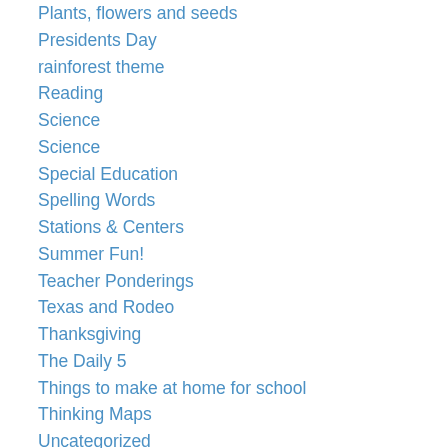Plants, flowers and seeds
Presidents Day
rainforest theme
Reading
Science
Science
Special Education
Spelling Words
Stations & Centers
Summer Fun!
Teacher Ponderings
Texas and Rodeo
Thanksgiving
The Daily 5
Things to make at home for school
Thinking Maps
Uncategorized
Using new technologies in the classroom
Valentine's Day
Writer's Workshop